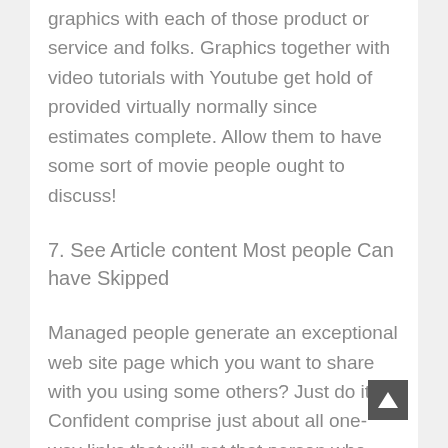graphics with each of those product or service and folks. Graphics together with video tutorials with Youtube get hold of provided virtually normally since estimates complete. Allow them to have some sort of movie people ought to discuss!
7. See Article content Most people Can have Skipped
Managed people generate an exceptional web site page which you want to share with you using some others? Just do it! Confident comprise just about all one-way links that will get that person who reads oh no- the main page.
Most people inside your market might thanks a lot with regard to locating article content they will often get skipped. People as well be even more likely to see a